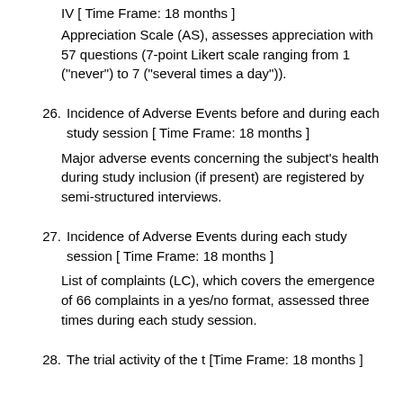IV [ Time Frame: 18 months ]
Appreciation Scale (AS), assesses appreciation with 57 questions (7-point Likert scale ranging from 1 ("never") to 7 ("several times a day")).
26. Incidence of Adverse Events before and during each study session [ Time Frame: 18 months ]
Major adverse events concerning the subject's health during study inclusion (if present) are registered by semi-structured interviews.
27. Incidence of Adverse Events during each study session [ Time Frame: 18 months ]
List of complaints (LC), which covers the emergence of 66 complaints in a yes/no format, assessed three times during each study session.
28. The trial activity of the t [Time Frame: 18 months ]